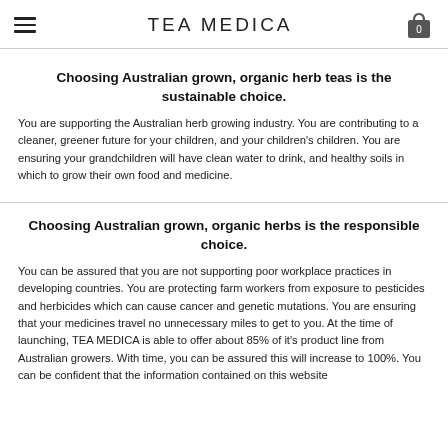TEA MEDICA
Choosing Australian grown, organic herb teas is the sustainable choice.
You are supporting the Australian herb growing industry. You are contributing to a cleaner, greener future for your children, and your children's children. You are ensuring your grandchildren will have clean water to drink, and healthy soils in which to grow their own food and medicine.
Choosing Australian grown, organic herbs is the responsible choice.
You can be assured that you are not supporting poor workplace practices in developing countries. You are protecting farm workers from exposure to pesticides and herbicides which can cause cancer and genetic mutations. You are ensuring that your medicines travel no unnecessary miles to get to you. At the time of launching, TEA MEDICA is able to offer about 85% of it's product line from Australian growers. With time, you can be assured this will increase to 100%. You can be confident that the information contained on this website